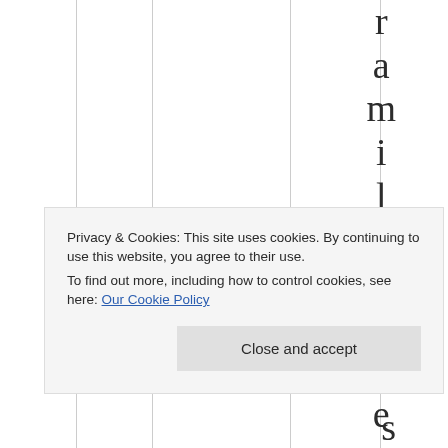r a m i l y . B l e
Privacy & Cookies: This site uses cookies. By continuing to use this website, you agree to their use.
To find out more, including how to control cookies, see here: Our Cookie Policy
Close and accept
s